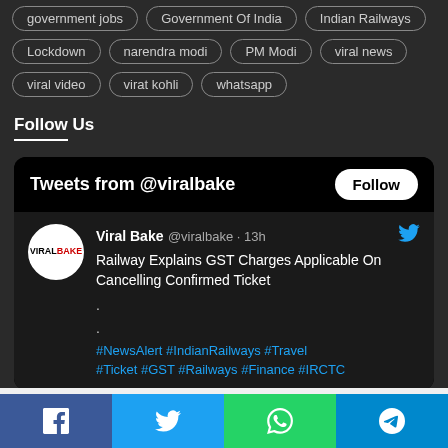government jobs
Government Of India
Indian Railways
Lockdown
narendra modi
PM Modi
viral news
viral video
virat kohli
whatsapp
Follow Us
[Figure (screenshot): Twitter/X widget showing tweets from @viralbake with a Follow button. A tweet reads: 'Railway Explains GST Charges Applicable On Cancelling Confirmed Ticket' with hashtags #NewsAlert #IndianRailways #Travel #Ticket #GST #Railways #Finance #IRCTC]
[Figure (infographic): Bottom share bar with Facebook, Twitter, WhatsApp, and Telegram share buttons]